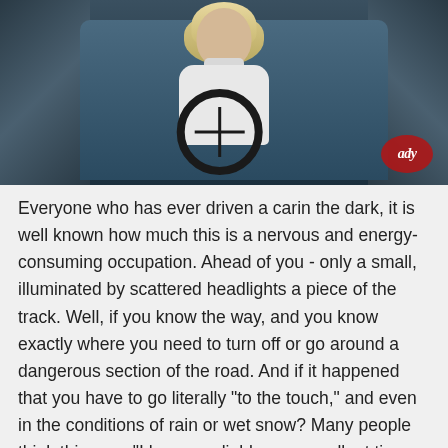[Figure (photo): A blonde woman in a white turtleneck sweater gripping a steering wheel inside a car interior. The background shows car seats in blue-gray tones. A red cursive logo reading 'lady' appears in the bottom-right corner of the photo.]
Everyone who has ever driven a carin the dark, it is well known how much this is a nervous and energy-consuming occupation. Ahead of you - only a small, illuminated by scattered headlights a piece of the track. Well, if you know the way, and you know exactly where you need to turn off or go around a dangerous section of the road. And if it happened that you have to go literally "to the touch," and even in the conditions of rain or wet snow? Many people think this way: "I have a reliable car, excellent tires